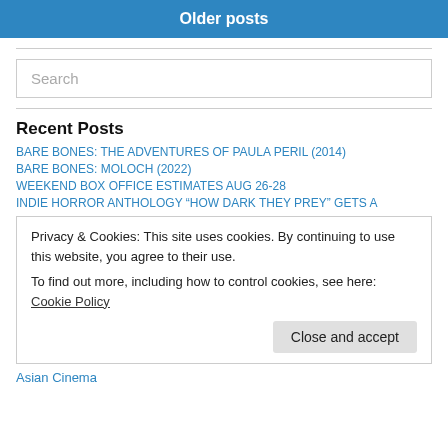Older posts
BARE BONES: THE ADVENTURES OF PAULA PERIL (2014)
BARE BONES: MOLOCH (2022)
WEEKEND BOX OFFICE ESTIMATES AUG 26-28
INDIE HORROR ANTHOLOGY “HOW DARK THEY PREY” GETS A
Privacy & Cookies: This site uses cookies. By continuing to use this website, you agree to their use.
To find out more, including how to control cookies, see here: Cookie Policy
Close and accept
Asian Cinema